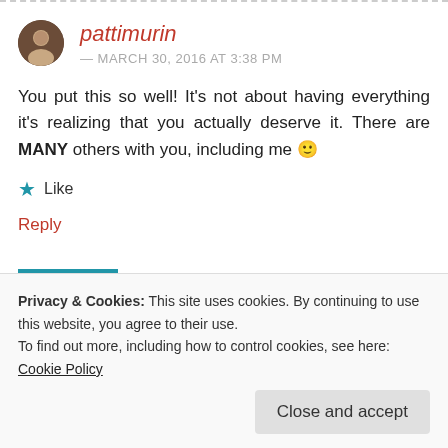pattimurin
— MARCH 30, 2016 AT 3:38 PM
You put this so well! It's not about having everything it's realizing that you actually deserve it. There are MANY others with you, including me 🙂
Like
Reply
Privacy & Cookies: This site uses cookies. By continuing to use this website, you agree to their use.
To find out more, including how to control cookies, see here: Cookie Policy
Close and accept